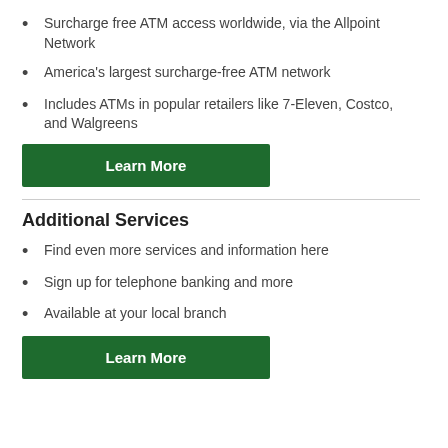Surcharge free ATM access worldwide, via the Allpoint Network
America's largest surcharge-free ATM network
Includes ATMs in popular retailers like 7-Eleven, Costco, and Walgreens
Learn More
Additional Services
Find even more services and information here
Sign up for telephone banking and more
Available at your local branch
Learn More